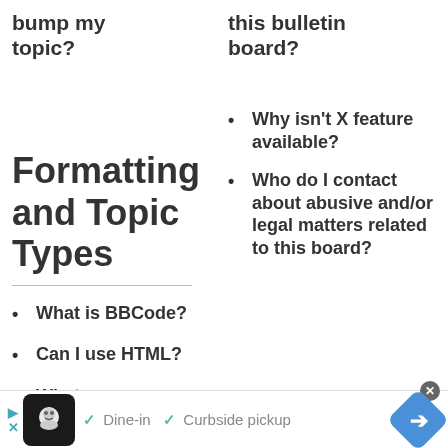bump my topic?
this bulletin board?
Formatting and Topic Types
Why isn't X feature available?
Who do I contact about abusive and/or legal matters related to this board?
What is BBCode?
Can I use HTML?
What are